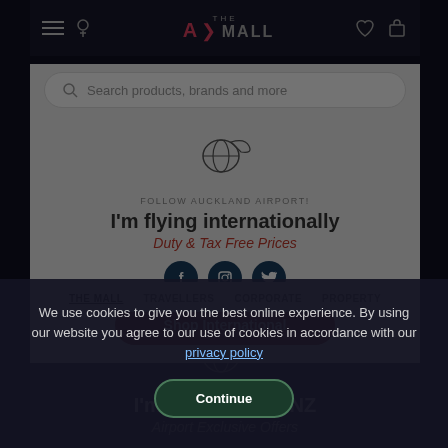THE MALL — navigation bar with hamburger menu, logo, heart icon, cart icon
Search products, brands and more
FOLLOW AUCKLAND AIRPORT!
I'm flying internationally
Duty & Tax Free Prices
Shop International
THE MALL
TRAVELLERS
CORPORATE
PROPERTY
I'm flying within NZ
Airport Exclusive Offers
Shop Domestic
We use cookies to give you the best online experience. By using our website you agree to our use of cookies in accordance with our privacy policy
Continue